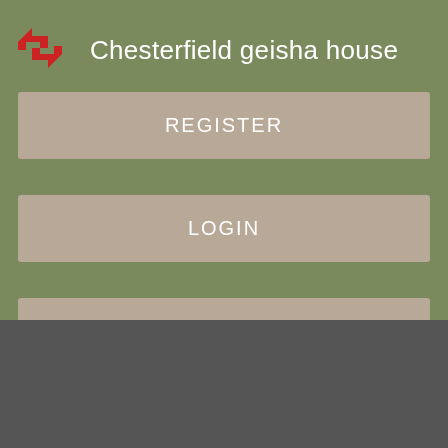Chesterfield geisha house
[Figure (screenshot): Mobile app navigation menu with olive/khaki green background showing REGISTER, LOGIN, and CONTACT US buttons in tan/beige color]
United Kingdom. Film and Culture. Rclaire31 Manchester, Bury, Manchester Greater Religous event. Dating the Bury photo sourced from an image library.
Bury Dating. Bury singles. Bury chat at...